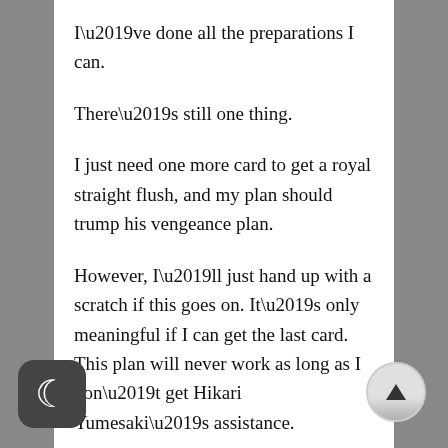I’ve done all the preparations I can.
There’s still one thing.
I just need one more card to get a royal straight flush, and my plan should trump his vengeance plan.
However, I’ll just hand up with a scratch if this goes on. It’s only meaningful if I can get the last card. This plan will never work as long as I don’t get Hikari Yumesaki’s assistance.
“...Hm?”
ere’s a trembling in my pocket, notifying me of a mail.